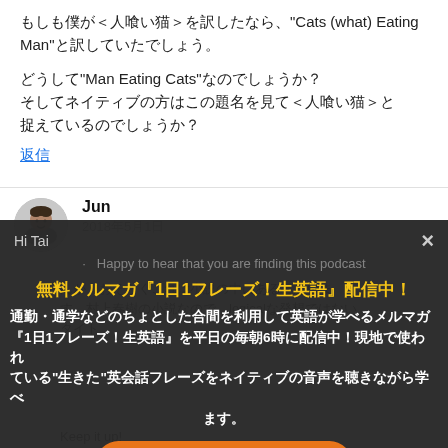もしも僕が＜人喰い猫＞を訳したなら、"Cats (what) Eating Man"と訳していたでしょう。
どうして"Man Eating Cats"なのでしょうか？
そしてネイティブの方はこの題名を見て＜人喰い猫＞と捉えているのでしょうか？
返信
Jun
2018年5月1日
Hi Tai
無料メルマガ『1日1フレーズ！生英語』配信中！
通勤・通学などのちょとした合間を利用して英語が学べるメルマガ『1日1フレーズ！生英語』を平日の毎朝6時に配信中！現地で使われている"生きた"英会話フレーズをネイティブの音声を聴きながら学べます。
Happy to hear that you are finding this podcast
んが、おそらくこれは小説の中にあると思います。村上春樹の小説なので、logicalな発想ではないタイト
詳細＆申込みはこちら
Keep it up!